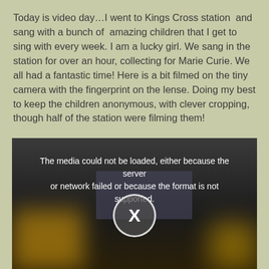Today is video day…I went to Kings Cross station  and sang with a bunch of  amazing children that I get to sing with every week. I am a lucky girl. We sang in the station for over an hour, collecting for Marie Curie. We all had a fantastic time! Here is a bit filmed on the tiny camera with the fingerprint on the lense. Doing my best to keep the children anonymous, with clever cropping, though half of the station were filming them!
[Figure (screenshot): A video player showing an error message: 'The media could not be loaded, either because the server or network failed or because the format is not supported.' with a blurred dark background showing computer screens and an X close button overlay.]